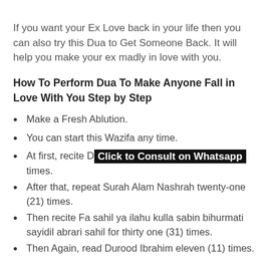If you want your Ex Love back in your life then you can also try this Dua to Get Someone Back. It will help you make your ex madly in love with you.
How To Perform Dua To Make Anyone Fall in Love With You Step by Step
Make a Fresh Ablution.
You can start this Wazifa any time.
At first, recite D[Click to Consult on Whatsapp] times.
After that, repeat Surah Alam Nashrah twenty-one (21) times.
Then recite Fa sahil ya ilahu kulla sabin bihurmati sayidil abrari sahil for thirty one (31) times.
Then Again, read Durood Ibrahim eleven (11) times.